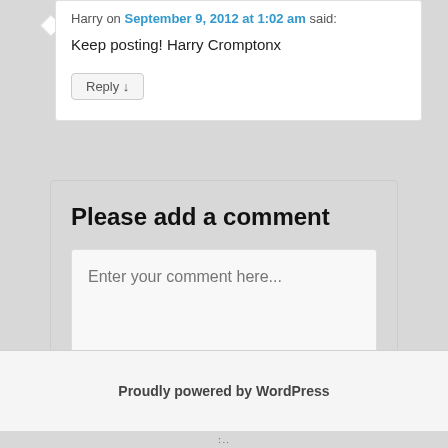Harry on September 9, 2012 at 1:02 am said:
Keep posting! Harry Cromptonx
Reply ↓
Please add a comment
Enter your comment here...
Proudly powered by WordPress